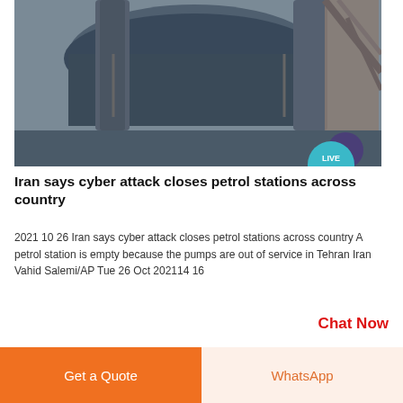[Figure (photo): Industrial machinery or petrol station equipment, dark metal tanks and structures, black and white/grey tones. Live Chat bubble badge visible in bottom-right of image.]
Iran says cyber attack closes petrol stations across country
2021 10 26 Iran says cyber attack closes petrol stations across country A petrol station is empty because the pumps are out of service in Tehran Iran Vahid Salemi/AP Tue 26 Oct 202114 16
Chat Now
[Figure (photo): Black and white photo of industrial equipment, likely petrol station structures or towers, against a grey sky.]
Get a Quote
WhatsApp